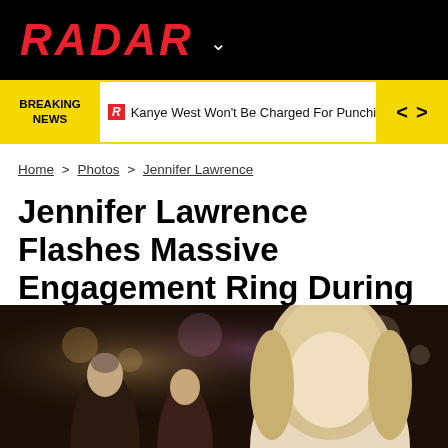[Figure (logo): RADAR logo in red italic bold text on black background with dropdown chevron]
BREAKING NEWS | Kanye West Won't Be Charged For Punching Fan
Home > Photos > Jennifer Lawrence
Jennifer Lawrence Flashes Massive Engagement Ring During Date Night With Fiancé!
[Figure (photo): Photo showing a man and a woman with blonde hair outdoors at night with bokeh lights in background]